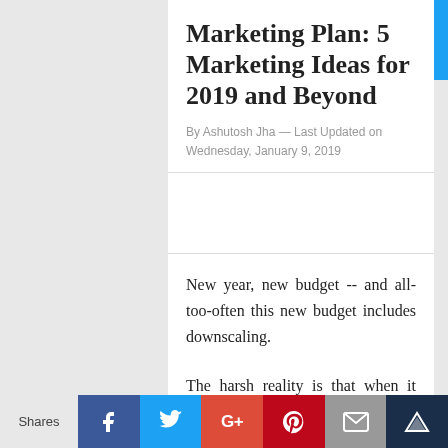Marketing Plan: 5 Marketing Ideas for 2019 and Beyond
By Ashutosh Jha — Last Updated on Wednesday, January 9, 2019
New year, new budget -- and all-too-often this new budget includes downscaling.
The harsh reality is that when it comes to budget cuts, the marketing